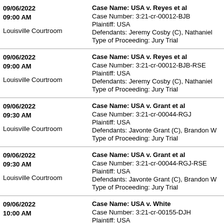| Date/Time/Location | Case Details |
| --- | --- |
| 09/06/2022
09:00 AM

Louisville Courtroom | Case Name: USA v. Reyes et al
Case Number: 3:21-cr-00012-BJB
Plaintiff: USA
Defendants: Jeremy Cosby (C), Nathaniel...
Type of Proceeding: Jury Trial |
| 09/06/2022
09:00 AM

Louisville Courtroom | Case Name: USA v. Reyes et al
Case Number: 3:21-cr-00012-BJB-RSE
Plaintiff: USA
Defendants: Jeremy Cosby (C), Nathaniel...
Type of Proceeding: Jury Trial |
| 09/06/2022
09:30 AM

Louisville Courtroom | Case Name: USA v. Grant et al
Case Number: 3:21-cr-00044-RGJ
Plaintiff: USA
Defendants: Javonte Grant (C), Brandon W...
Type of Proceeding: Jury Trial |
| 09/06/2022
09:30 AM

Louisville Courtroom | Case Name: USA v. Grant et al
Case Number: 3:21-cr-00044-RGJ-RSE
Plaintiff: USA
Defendants: Javonte Grant (C), Brandon W...
Type of Proceeding: Jury Trial |
| 09/06/2022
10:00 AM

Louisville Courtroom | Case Name: USA v. White
Case Number: 3:21-cr-00155-DJH
Plaintiff: USA |